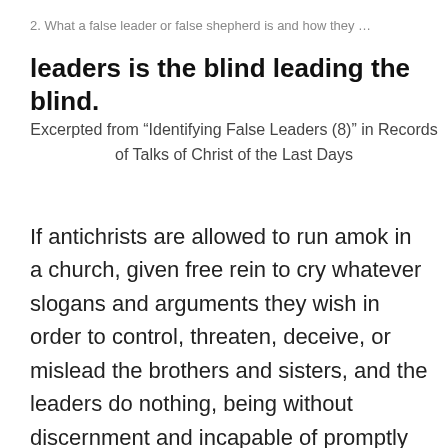2. What a false leader or false shepherd is and how they …
leaders is the blind leading the blind.
Excerpted from “Identifying False Leaders (8)” in Records of Talks of Christ of the Last Days
If antichrists are allowed to run amok in a church, given free rein to cry whatever slogans and arguments they wish in order to control, threaten, deceive, or mislead the brothers and sisters, and the leaders do nothing, being without discernment and incapable of promptly exposing these antichrists and getting them under control, leading to the brothers and sisters being manipulated and